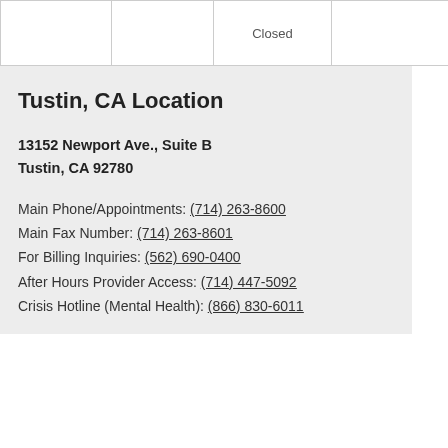|  |  | Closed |  |
Tustin, CA Location
13152 Newport Ave., Suite B
Tustin, CA 92780
Main Phone/Appointments: (714) 263-8600
Main Fax Number: (714) 263-8601
For Billing Inquiries: (562) 690-0400
After Hours Provider Access: (714) 447-5092
Crisis Hotline (Mental Health): (866) 830-6011